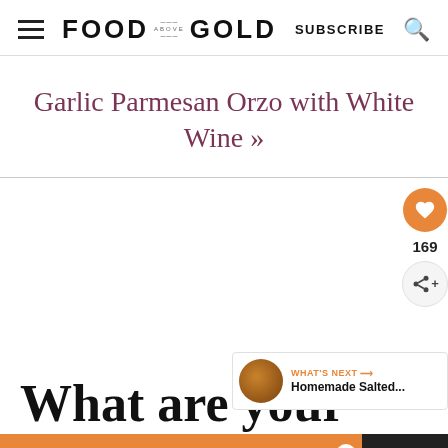FOOD ABOVE GOLD — SUBSCRIBE
Garlic Parmesan Orzo with White Wine »
169
WHAT'S NEXT → Homemade Salted...
What are your
You can help hungry kids. NO KID HUNGRY LEARN HOW